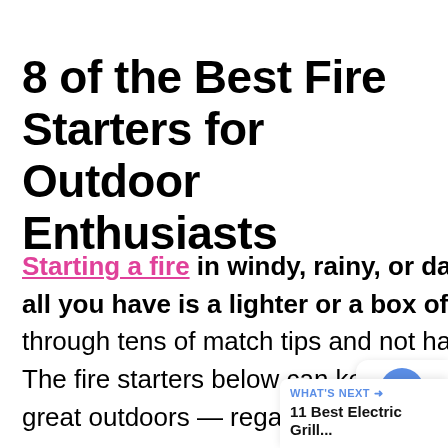8 of the Best Fire Starters for Outdoor Enthusiasts
Starting a fire in windy, rainy, or damp conditions can dishearten if all you have is a lighter or a box of matches. You can easily go through tens of match tips and not have any fire to show for the effort. The fire starters below can keep you frustration-free and warm in the great outdoors — regardless of conditions.